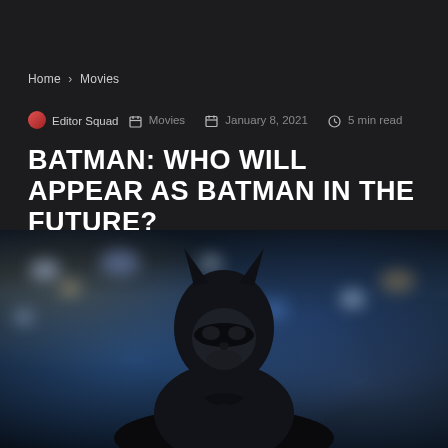Home > Movies
Editor Squad  Movies  January 8, 2021  5 min read
BATMAN: WHO WILL APPEAR AS BATMAN IN THE FUTURE?
[Figure (photo): Batman character in black suit and cowl, looking upward, with blurred city lights bokeh background]